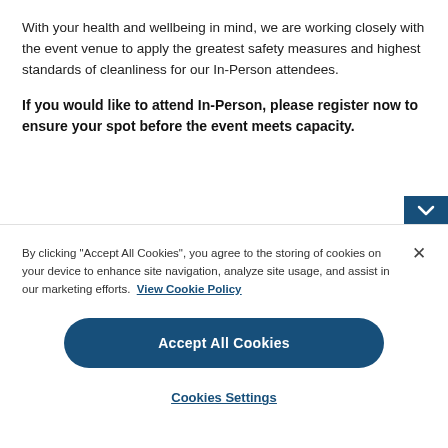With your health and wellbeing in mind, we are working closely with the event venue to apply the greatest safety measures and highest standards of cleanliness for our In-Person attendees.
If you would like to attend In-Person, please register now to ensure your spot before the event meets capacity.
By clicking "Accept All Cookies", you agree to the storing of cookies on your device to enhance site navigation, analyze site usage, and assist in our marketing efforts. View Cookie Policy
Accept All Cookies
Cookies Settings